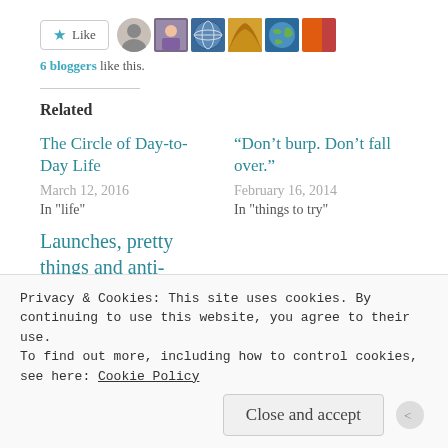[Figure (other): Like button with star icon and 6 blogger avatar thumbnails]
6 bloggers like this.
Related
The Circle of Day-to-Day Life
March 12, 2016
In "life"
“Don’t burp. Don’t fall over.”
February 16, 2014
In "things to try"
Launches, pretty things and anti-romance
Privacy & Cookies: This site uses cookies. By continuing to use this website, you agree to their use.
To find out more, including how to control cookies, see here: Cookie Policy
Close and accept